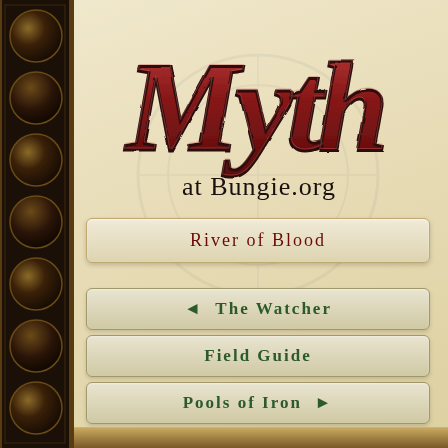[Figure (logo): Myth logo in stylized dark red gothic lettering with ornate texture, reading 'Myth']
at Bungie.org
River of Blood
◄ The Watcher
Field Guide
Pools of Iron ►